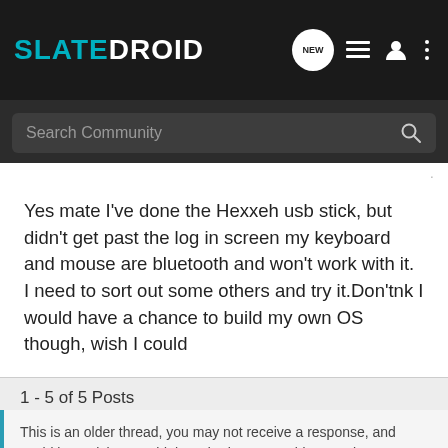SLATEDROID
Search Community
Yes mate I've done the Hexxeh usb stick, but didn't get past the log in screen my keyboard and mouse are bluetooth and won't work with it. I need to sort out some others and try it.Don'tnk I would have a chance to build my own OS though, wish I could
1 - 5 of 5 Posts
This is an older thread, you may not receive a response, and could be reviving an old thread. Please consider creating a new thread.